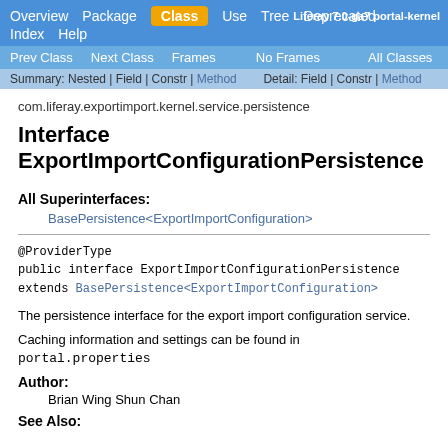Overview | Package | Class | Use | Tree | Deprecated | Index | Help | Liferay 7.0-ga7 portal-kernel
Prev Class | Next Class | Frames | No Frames | All Classes
Summary: Nested | Field | Constr | Method   Detail: Field | Constr | Method
com.liferay.exportimport.kernel.service.persistence
Interface ExportImportConfigurationPersistence
All Superinterfaces:
BasePersistence<ExportImportConfiguration>
@ProviderType
public interface ExportImportConfigurationPersistence
extends BasePersistence<ExportImportConfiguration>
The persistence interface for the export import configuration service.
Caching information and settings can be found in portal.properties
Author:
Brian Wing Shun Chan
See Also: